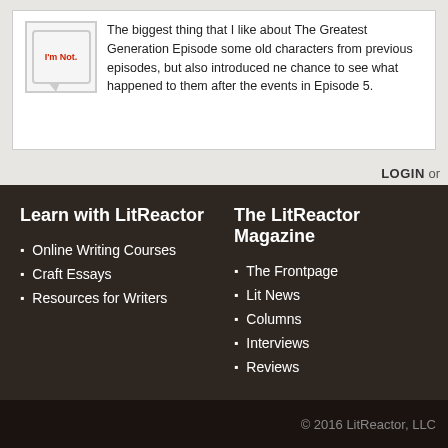The biggest thing that I like about The Greatest Generation Episode some old characters from previous episodes, but also introduced ne chance to see what happened to them after the events in Episode 5.
LOGIN or
Learn with LitReactor
Online Writing Courses
Craft Essays
Resources for Writers
The LitReactor Magazine
The Frontpage
Lit News
Columns
Interviews
Reviews
© 2016 LitReactor, LLC